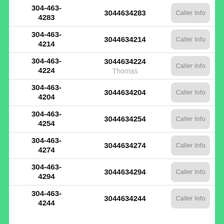| Formatted Number | Raw Number | Action |
| --- | --- | --- |
| 304-463-4283 | 3044634283 | Caller Info |
| 304-463-4214 | 3044634214 | Caller Info |
| 304-463-4224 | 3044634224
Thomas | Caller Info |
| 304-463-4204 | 3044634204 | Caller Info |
| 304-463-4254 | 3044634254 | Caller Info |
| 304-463-4274 | 3044634274 | Caller Info |
| 304-463-4294 | 3044634294 | Caller Info |
| 304-463-4244 | 3044634244 | Caller Info |